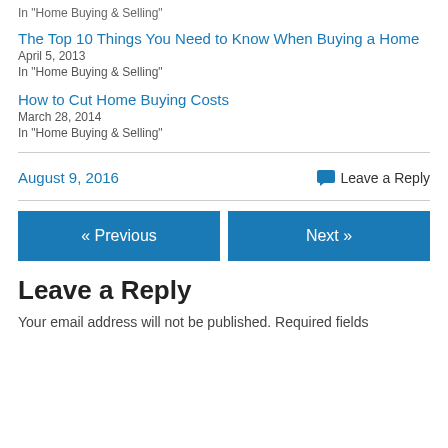In "Home Buying & Selling"
The Top 10 Things You Need to Know When Buying a Home
April 5, 2013
In "Home Buying & Selling"
How to Cut Home Buying Costs
March 28, 2014
In "Home Buying & Selling"
August 9, 2016
Leave a Reply
« Previous
Next »
Leave a Reply
Your email address will not be published. Required fields